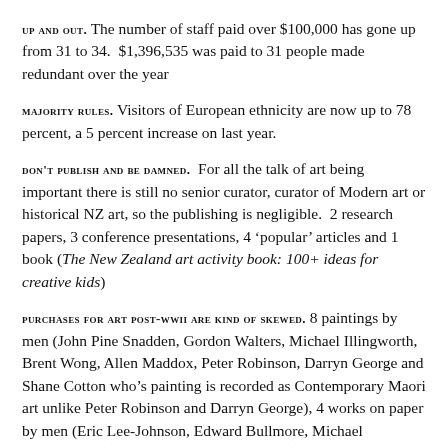UP AND OUT. The number of staff paid over $100,000 has gone up from 31 to 34. $1,396,535 was paid to 31 people made redundant over the year
MAJORITY RULES. Visitors of European ethnicity are now up to 78 percent, a 5 percent increase on last year.
DON'T PUBLISH AND BE DAMNED. For all the talk of art being important there is still no senior curator, curator of Modern art or historical NZ art, so the publishing is negligible. 2 research papers, 3 conference presentations, 4 'popular' articles and 1 book (The New Zealand art activity book: 100+ ideas for creative kids)
PURCHASES FOR ART POST-WWII ARE KIND OF SKEWED. 8 paintings by men (John Pine Snadden, Gordon Walters, Michael Illingworth, Brent Wong, Allen Maddox, Peter Robinson, Darryn George and Shane Cotton who's painting is recorded as Contemporary Maori art unlike Peter Robinson and Darryn George), 4 works on paper by men (Eric Lee-Johnson, Edward Bullmore, Michael Stevenson x2) and 2 digital works by men (x2 Michael Stevenson). Then there's 1 sculptural installation (Yuk King Tan), 1 international installation (Patrice Doreen and Virginia Fraser) and about 96 photographs...